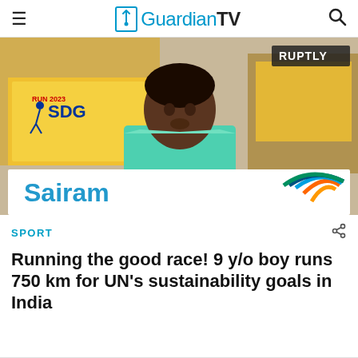GuardianTV
[Figure (photo): A young boy (approximately 9 years old) holding a white banner that reads 'Sairam' with a colorful circular logo. Behind him are yellow buses and an SDG Run 2023 banner. A 'RUPTLY' watermark is visible in the upper right corner of the photo.]
SPORT
Running the good race! 9 y/o boy runs 750 km for UN's sustainability goals in India